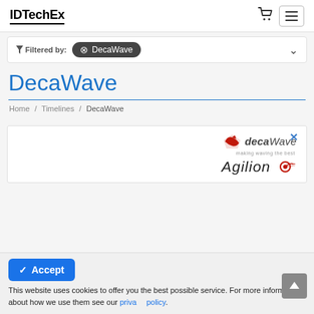IDTechEx
Filtered by: DecaWave
DecaWave
Home / Timelines / DecaWave
[Figure (logo): decaWave and Agilion logos inside an advertisement box]
Accept
This website uses cookies to offer you the best possible service. For more information about how we use them see our privacy policy.